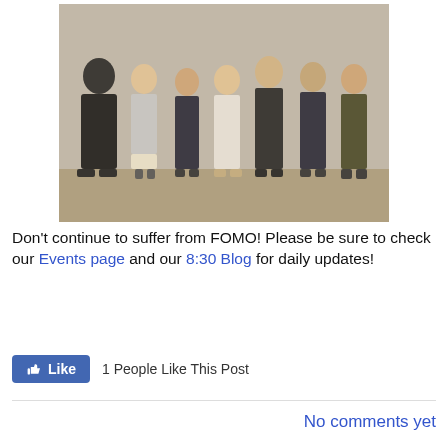[Figure (photo): Group photo of seven people (one older man in black clerical attire, six younger individuals in business/smart casual dress) standing in a row against a light wall, indoor setting.]
Don't continue to suffer from FOMO! Please be sure to check our Events page and our 8:30 Blog for daily updates!
1 People Like This Post
No comments yet